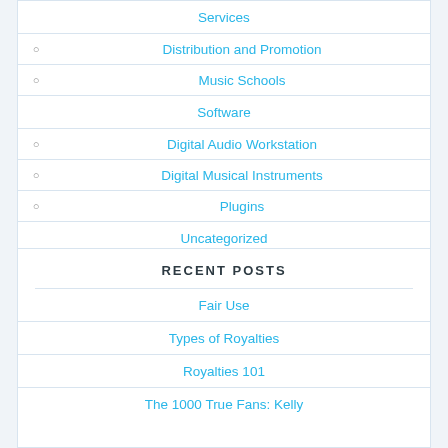Services
Distribution and Promotion
Music Schools
Software
Digital Audio Workstation
Digital Musical Instruments
Plugins
Uncategorized
RECENT POSTS
Fair Use
Types of Royalties
Royalties 101
The 1000 True Fans: Kelly